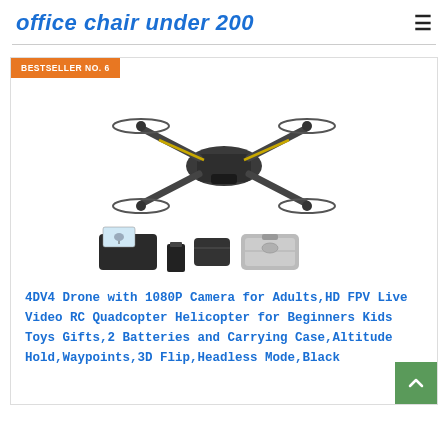office chair under 200
BESTSELLER NO. 6
[Figure (photo): 4DV4 drone with 1080P camera shown from above with folding arms, propellers, yellow accents. Below the drone: remote controller, battery pack, folded drone, and hard carrying case displayed as product accessories.]
4DV4 Drone with 1080P Camera for Adults,HD FPV Live Video RC Quadcopter Helicopter for Beginners Kids Toys Gifts,2 Batteries and Carrying Case,Altitude Hold,Waypoints,3D Flip,Headless Mode,Black